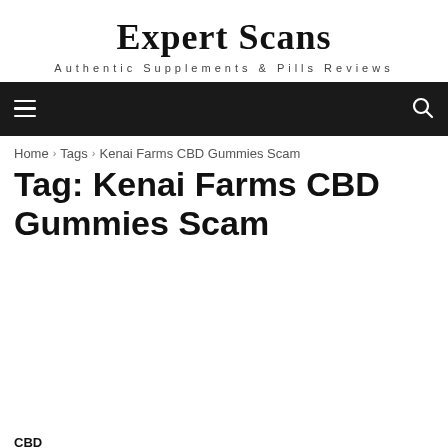Expert Scans
Authentic Supplements & Pills Reviews
Tag: Kenai Farms CBD Gummies Scam
Home › Tags › Kenai Farms CBD Gummies Scam
CBD